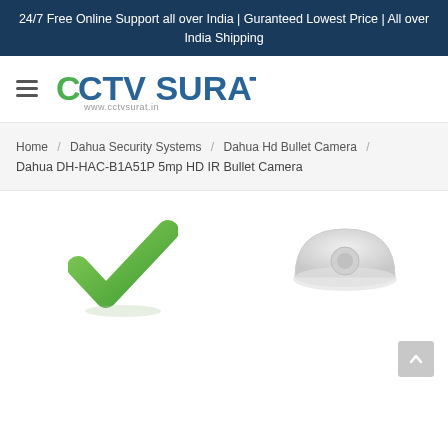24/7 Free Online Support all over India | Guranteed Lowest Price | All over India Shipping
[Figure (logo): CCTV Surat logo with hamburger menu icon and www.cctvsurat.in URL]
Home / Dahua Security Systems / Dahua Hd Bullet Camera / Dahua DH-HAC-B1A51P 5mp HD IR Bullet Camera
[Figure (photo): Green checkmark icon on the left and a gray dome camera image on the right, product area for Dahua DH-HAC-B1A51P 5mp HD IR Bullet Camera]